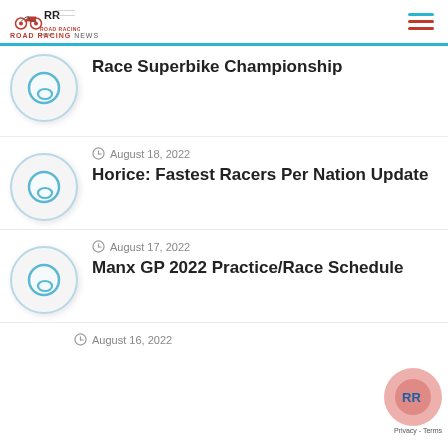Road Racing News
Race Superbike Championship
August 18, 2022 — Horice: Fastest Racers Per Nation Update
August 17, 2022 — Manx GP 2022 Practice/Race Schedule
August 16, 2022 — (partial)